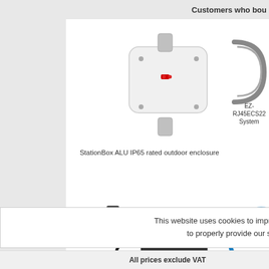Customers who bou
[Figure (photo): StationBox ALU IP65 rated outdoor enclosure - white rectangular outdoor enclosure mounted on a pole]
StationBox ALU IP65 rated outdoor enclosure
[Figure (photo): EZ-RJ45ECS22 - System - partially visible cable/connector]
EZ-RJ45ECS22
System
[Figure (photo): 802.3af/at - 48v to 5V/2A 10/100 PoE Splitter - 5.5mm - black PoE splitter device with USB and ethernet cables]
802.3af/at - 48v to 5V/2A 10/100 PoE Splitter - 5.5mm
[Figure (photo): EZ-RJ45ECE16 - System - partially visible blue circular cable]
EZ-RJ45ECE16
System
[Figure (photo): GPS antenna with long black cable coiled, partially visible at bottom]
This website uses cookies to improve your experience and to properly provide our services. Accept
All prices exclude VAT